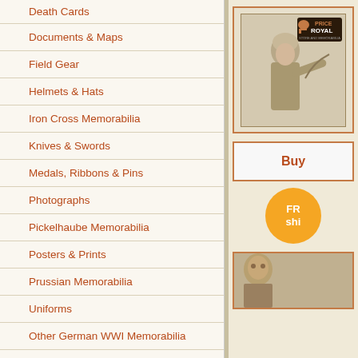Death Cards
Documents & Maps
Field Gear
Helmets & Hats
Iron Cross Memorabilia
Knives & Swords
Medals, Ribbons & Pins
Photographs
Pickelhaube Memorabilia
Posters & Prints
Prussian Memorabilia
Uniforms
Other German WWI Memorabilia
Great Britain
Badges
Books
Documents & Maps
Field Gear
Helmets & Hats
Knives, Swords & Bayonets
[Figure (photo): Advertisement image showing a Royal-branded product with a Roman helmet logo and a figure illustration]
Buy
[Figure (photo): Orange circular Free Shipping badge]
[Figure (photo): Bottom advertisement image showing a partial figure photo]